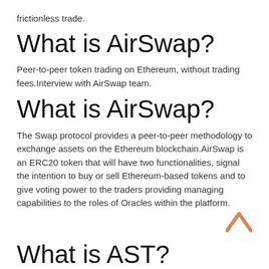frictionless trade.
What is AirSwap?
Peer-to-peer token trading on Ethereum, without trading fees.Interview with AirSwap team.
What is AirSwap?
The Swap protocol provides a peer-to-peer methodology to exchange assets on the Ethereum blockchain.AirSwap is an ERC20 token that will have two functionalities, signal the intention to buy or sell Ethereum-based tokens and to give voting power to the traders providing managing capabilities to the roles of Oracles within the platform.
What is AST?